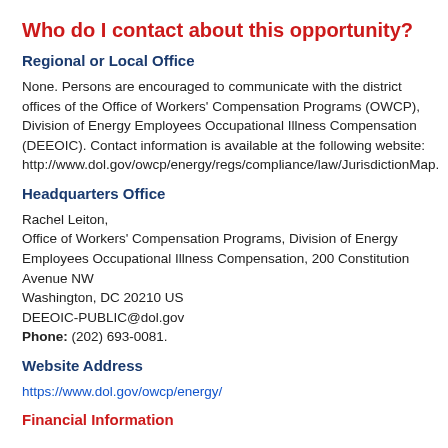Who do I contact about this opportunity?
Regional or Local Office
None. Persons are encouraged to communicate with the district offices of the Office of Workers' Compensation Programs (OWCP), Division of Energy Employees Occupational Illness Compensation (DEEOIC). Contact information is available at the following website: http://www.dol.gov/owcp/energy/regs/compliance/law/JurisdictionMap.
Headquarters Office
Rachel Leiton,
Office of Workers' Compensation Programs, Division of Energy Employees Occupational Illness Compensation, 200 Constitution Avenue NW
Washington, DC 20210 US
DEEOIC-PUBLIC@dol.gov
Phone: (202) 693-0081.
Website Address
https://www.dol.gov/owcp/energy/
Financial Information